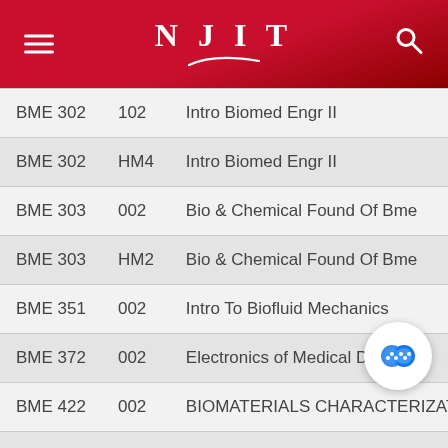NJIT
| Course | Section | Name |
| --- | --- | --- |
| BME 302 | 102 | Intro Biomed Engr II |
| BME 302 | HM4 | Intro Biomed Engr II |
| BME 303 | 002 | Bio & Chemical Found Of Bme |
| BME 303 | HM2 | Bio & Chemical Found Of Bme |
| BME 351 | 002 | Intro To Biofluid Mechanics |
| BME 372 | 002 | Electronics of Medical Devices |
| BME 422 | 002 | BIOMATERIALS CHARACTERIZATIO... |
| BME 452 | 002 | Mech Behav&Perf of [Material] |
| BME 478 | 102 | Intro to CAD for Biomechanics |